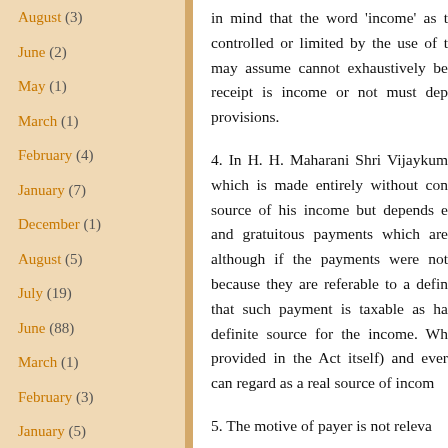August (3)
June (2)
May (1)
March (1)
February (4)
January (7)
December (1)
August (5)
July (19)
June (88)
March (1)
February (3)
January (5)
December (11)
in mind that the word 'income' as to controlled or limited by the use of t may assume cannot exhaustively be receipt is income or not must dep provisions.
4. In H. H. Maharani Shri Vijayku which is made entirely without con source of his income but depends e and gratuitous payments which are although if the payments were not because they are referable to a defin that such payment is taxable as ha definite source for the income. Wh provided in the Act itself) and ever can regard as a real source of incom
5. The motive of payer is not releva